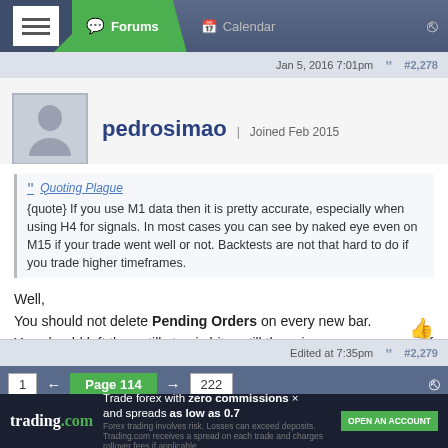Forums | Calendar
Jan 5, 2016 7:01pm  #2,278
pedrosimao | Joined Feb 2015
Quoting Plague
{quote} If you use M1 data then it is pretty accurate, especially when using H4 for signals. In most cases you can see by naked eye even on M15 if your trade went well or not. Backtests are not that hard to do if you trade higher timeframes.
Well,
You should not delete Pending Orders on every new bar.
You should left them, till stop is hit, or till there is a new sequence of Green Red.
Try this out.
Edited at 7:35pm  #2,279
1  ← Page 114 → 222
trading.com  Trade forex with zero commissions and spreads as low as 0.7
Forex trading involves risk. Losses can exceed deposits. Trading.com receives a spread on each trade and charges rollover fees if applicable.
OPEN AN ACCOUNT